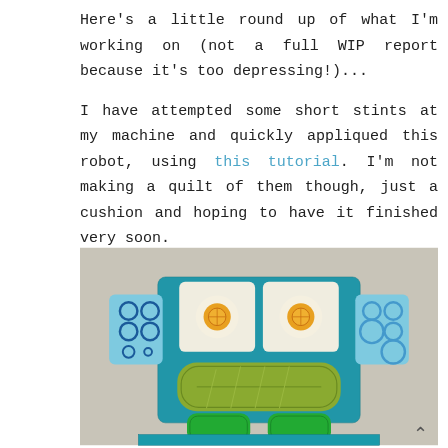Here's a little round up of what I'm working on (not a full WIP report because it's too depressing!)...

I have attempted some short stints at my machine and quickly appliqued this robot, using this tutorial. I'm not making a quilt of them though, just a cushion and hoping to have it finished very soon.
[Figure (photo): Close-up photo of a fabric robot appliqué on a light background. The robot is made from various blue and teal patterned fabrics, with two fried-egg style circular eyes (white with orange centers), a large green/yellow textured oval for the mouth/visor, and bright green pieces at the bottom. The robot's arms/sides feature blue circular-patterned fabric.]